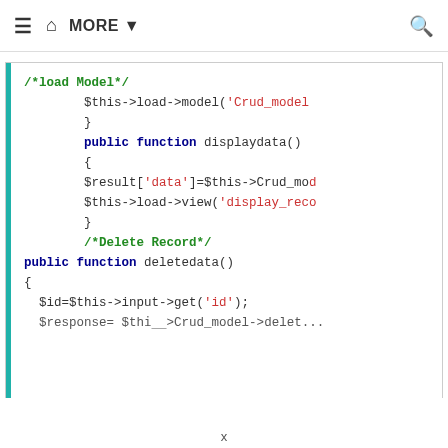≡  🏠  MORE ▼  🔍
[Figure (screenshot): Code editor screenshot showing PHP CodeIgniter controller code with syntax highlighting. Green comments: /*load Model*/ and /*Delete Record*/. Blue keywords: public function. Red strings: 'Crud_model', 'data', 'display_reco', 'id'. Black code: $this->load->model(...), }, public function displaydata(), {, $result['data']=$this->Crud_mo..., $this->load->view('display_reco..., }, /*Delete Record*/, public function deletedata(), {, $id=$this->input->get('id');, $response=$this->Crud_model->delete...]